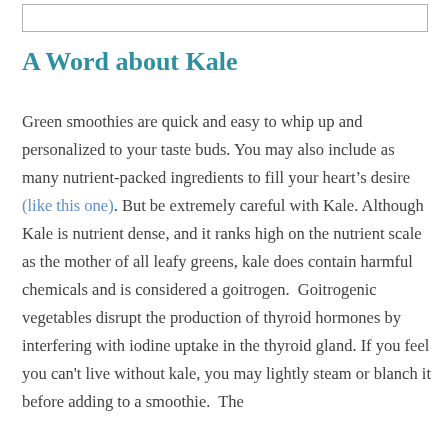[Figure (other): Empty bordered box at top of page]
A Word about Kale
Green smoothies are quick and easy to whip up and personalized to your taste buds. You may also include as many nutrient-packed ingredients to fill your heart's desire (like this one). But be extremely careful with Kale. Although Kale is nutrient dense, and it ranks high on the nutrient scale as the mother of all leafy greens, kale does contain harmful chemicals and is considered a goitrogen.  Goitrogenic vegetables disrupt the production of thyroid hormones by interfering with iodine uptake in the thyroid gland. If you feel you can't live without kale, you may lightly steam or blanch it before adding to a smoothie.  The